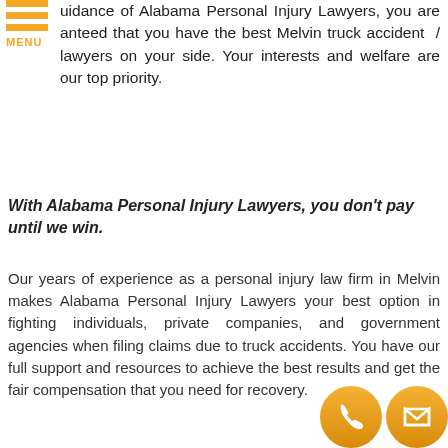[Figure (logo): Orange hamburger menu icon with three horizontal orange bars and 'MENU' text in orange below]
uidance of Alabama Personal Injury Lawyers, you are anteed that you have the best Melvin truck accident / lawyers on your side. Your interests and welfare are our top priority.
With Alabama Personal Injury Lawyers, you don't pay until we win.
Our years of experience as a personal injury law firm in Melvin makes Alabama Personal Injury Lawyers your best option in fighting individuals, private companies, and government agencies when filing claims due to truck accidents. You have our full support and resources to achieve the best results and get the fair compensation that you need for recovery.
[Figure (other): Orange 'REQUEST A CONSULTATION' button with hand pointer icon]
What To Do When In A Truck Accident
[Figure (other): Two orange circular icon buttons at bottom right: phone icon and email icon]